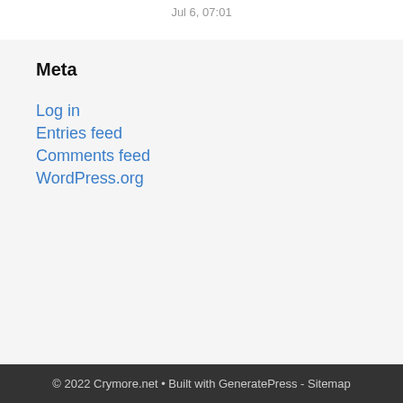Jul 6, 07:01
Meta
Log in
Entries feed
Comments feed
WordPress.org
© 2022 Crymore.net • Built with GeneratePress - Sitemap